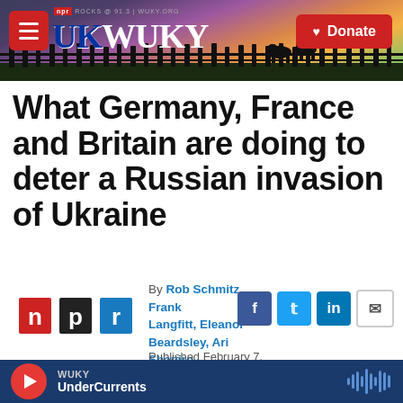[Figure (screenshot): WUKY NPR radio station website header with logo, hamburger menu, sunset background with fence silhouette, and Donate button]
What Germany, France and Britain are doing to deter a Russian invasion of Ukraine
[Figure (logo): NPR logo in red, black and white]
By Rob Schmitz, Frank Langfitt, Eleanor Beardsley, Ari Shapiro
[Figure (infographic): Social sharing icons: Facebook, Twitter, LinkedIn, Email]
Published February 7, 2022 at 4:26 PM EST
WUKY UnderCurrents